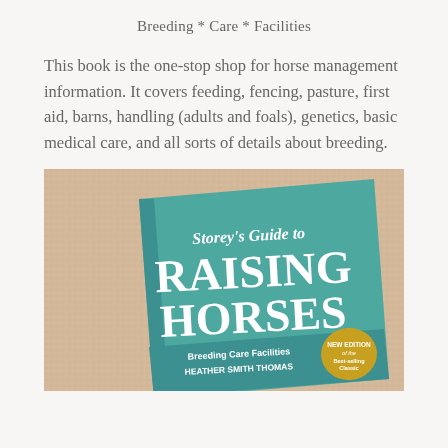Breeding * Care * Facilities
This book is the one-stop shop for horse management information. It covers feeding, fencing, pasture, first aid, barns, handling (adults and foals), genetics, basic medical care, and all sorts of details about breeding.
[Figure (photo): Photo of the book 'Storey's Guide to Raising Horses: Breeding, Care, Facilities' by Heather Smith Thomas, New Edition, lying on a carpet. The book cover is teal/turquoise with bold white lettering.]